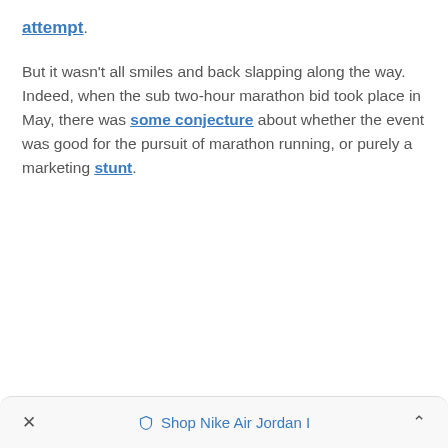attempt.
But it wasn't all smiles and back slapping along the way. Indeed, when the sub two-hour marathon bid took place in May, there was some conjecture about whether the event was good for the pursuit of marathon running, or purely a marketing stunt.
× ◇ Shop Nike Air Jordan I ∧